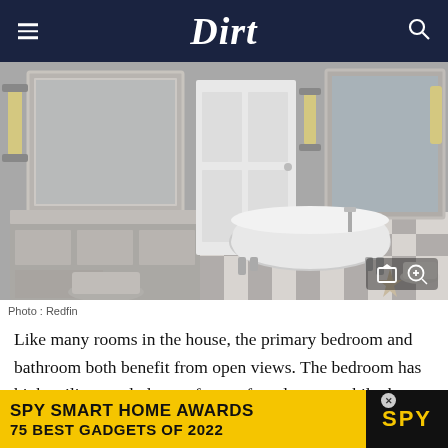Dirt
[Figure (photo): Luxury primary bathroom with mirrored vanity and drawers on the left, a white clawfoot bathtub on a black and white checkered floor in the center-right, large framed mirrors, wall sconces, and a white door in the middle.]
Photo : Redfin
Like many rooms in the house, the primary bedroom and bathroom both benefit from open views. The bedroom has high ceilings and plenty of room for a lounge, while the
[Figure (other): Advertisement banner: SPY SMART HOME AWARDS / 75 BEST GADGETS OF 2022 with SPY logo on black background, on yellow background.]